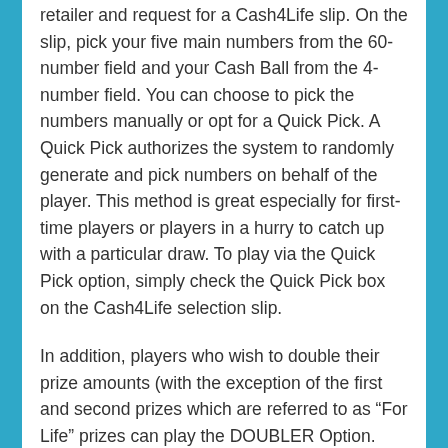retailer and request for a Cash4Life slip. On the slip, pick your five main numbers from the 60-number field and your Cash Ball from the 4-number field. You can choose to pick the numbers manually or opt for a Quick Pick. A Quick Pick authorizes the system to randomly generate and pick numbers on behalf of the player. This method is great especially for first-time players or players in a hurry to catch up with a particular draw. To play via the Quick Pick option, simply check the Quick Pick box on the Cash4Life selection slip.
In addition, players who wish to double their prize amounts (with the exception of the first and second prizes which are referred to as “For Life” prizes can play the DOUBLER Option. The Cash4Life bet slip can be purchased at any New Jersey Lottery Retailer. Mark the checkbox next to the DOUBLER option to double